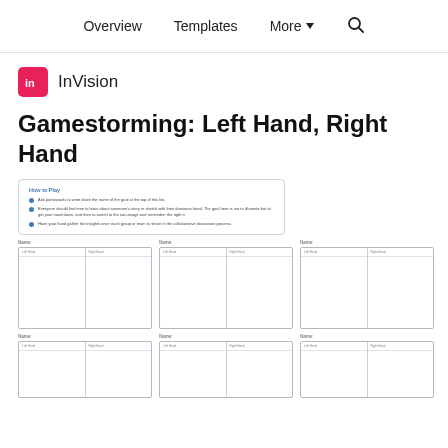Overview  Templates  More ▾  🔍
[Figure (logo): InVision pink square logo with 'in' text]
Gamestorming: Left Hand, Right Hand
[Figure (screenshot): Template preview showing 'How to Play' instructions card and a grid of frames with columns labeled for left hand / right hand entries]